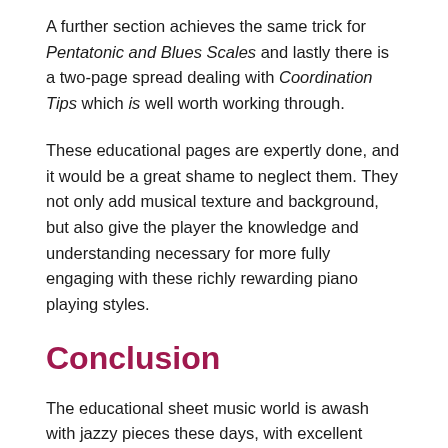A further section achieves the same trick for Pentatonic and Blues Scales and lastly there is a two-page spread dealing with Coordination Tips which is well worth working through.
These educational pages are expertly done, and it would be a great shame to neglect them. They not only add musical texture and background, but also give the player the knowledge and understanding necessary for more fully engaging with these richly rewarding piano playing styles.
Conclusion
The educational sheet music world is awash with jazzy pieces these days, with excellent material by so many of our best composers. In many cases, these are essentially "jazzy pieces" written by educators from a